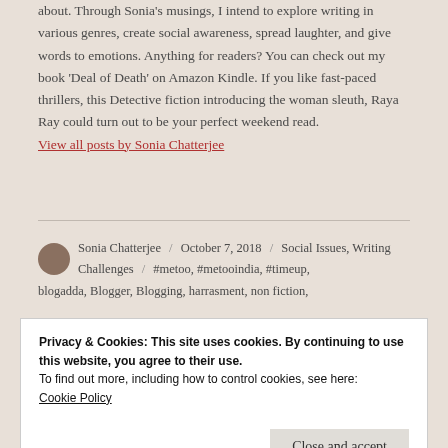about. Through Sonia's musings, I intend to explore writing in various genres, create social awareness, spread laughter, and give words to emotions. Anything for readers? You can check out my book 'Deal of Death' on Amazon Kindle. If you like fast-paced thrillers, this Detective fiction introducing the woman sleuth, Raya Ray could turn out to be your perfect weekend read. View all posts by Sonia Chatterjee
Sonia Chatterjee / October 7, 2018 / Social Issues, Writing Challenges / #metoo, #metooindia, #timeup, blogadda, Blogger, Blogging, harrasment, non fiction,
Privacy & Cookies: This site uses cookies. By continuing to use this website, you agree to their use.
To find out more, including how to control cookies, see here: Cookie Policy
Close and accept